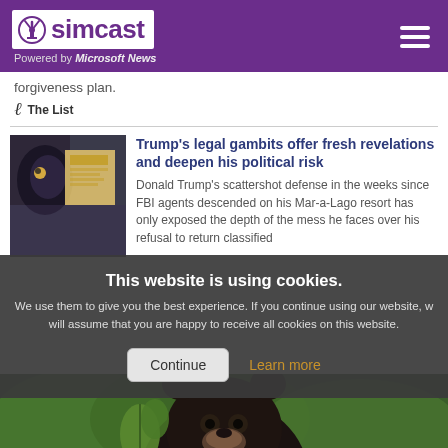simcast — Powered by Microsoft News
forgiveness plan.
The List
Trump's legal gambits offer fresh revelations and deepen his political risk
Donald Trump's scattershot defense in the weeks since FBI agents descended on his Mar-a-Lago resort has only exposed the depth of the mess he faces over his refusal to return classified
This website is using cookies. We use them to give you the best experience. If you continue using our website, we will assume that you are happy to receive all cookies on this website.
Continue
Learn more
[Figure (photo): Black bear looking at camera in green woodland setting]